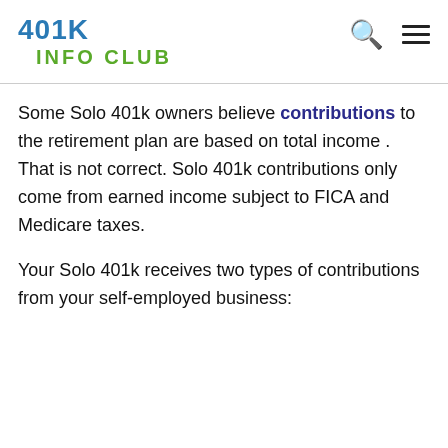401K INFO CLUB
Some Solo 401k owners believe contributions to the retirement plan are based on total income . That is not correct. Solo 401k contributions only come from earned income subject to FICA and Medicare taxes.
Your Solo 401k receives two types of contributions from your self-employed business: